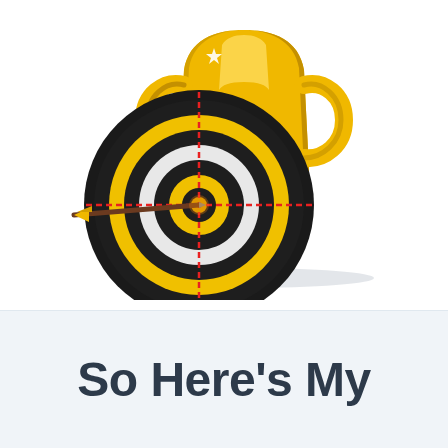[Figure (illustration): A gold trophy cup with handles standing behind a circular archery target/dartboard (black and yellow rings) with a crosshair overlay in red and an arrow hitting the bullseye center. The target leans against the trophy. Both sit on a light gray surface.]
So Here’s My